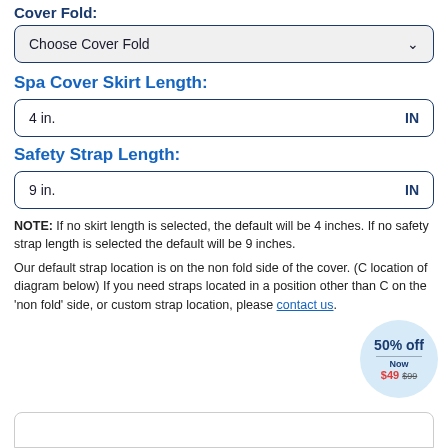Cover Fold:
Choose Cover Fold
Spa Cover Skirt Length:
4 in.  IN
Safety Strap Length:
9 in.  IN
NOTE: If no skirt length is selected, the default will be 4 inches. If no safety strap length is selected the default will be 9 inches.
Our default strap location is on the non fold side of the cover. (C location of diagram below) If you need straps located in a position other than C on the 'non fold' side, or custom strap location, please contact us.
[Figure (other): Promotional badge showing 50% off, Now $49 (was $99)]